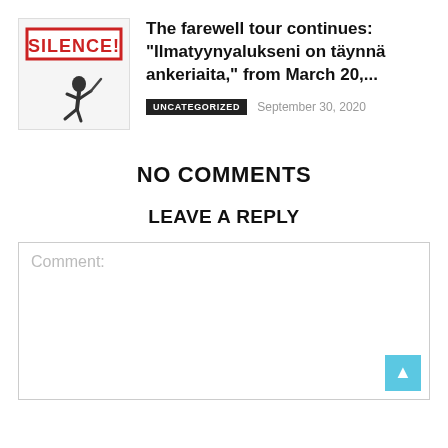[Figure (illustration): Thumbnail image with a red-bordered box labeled SILENCE! in red text on white background, with a dark silhouette figure below]
The farewell tour continues: “Ilmatyynyalukseni on täynä ankeriaita,” from March 20,...
UNCATEGORIZED   September 30, 2020
NO COMMENTS
LEAVE A REPLY
Comment: